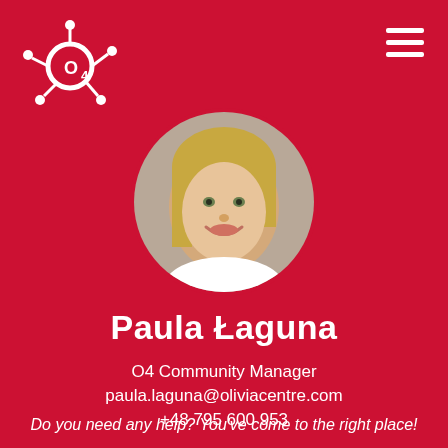[Figure (logo): O4 molecule logo in white on red background]
[Figure (photo): Circular profile photo of Paula Łaguna, a blonde woman smiling]
Paula Łaguna
O4 Community Manager
paula.laguna@oliviacentre.com
+48 795 600 953
Do you need any help? You've come to the right place!